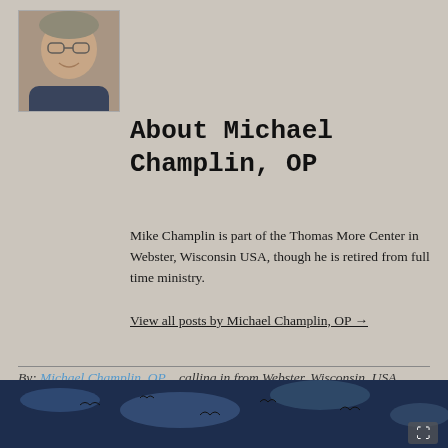[Figure (photo): Headshot photo of Michael Champlin, OP - an older man smiling, wearing glasses and a dark shirt]
About Michael Champlin, OP
Mike Champlin is part of the Thomas More Center in Webster, Wisconsin USA, though he is retired from full time ministry.
View all posts by Michael Champlin, OP →
By: Michael Champlin, OP   calling in from Webster, Wisconsin, USA